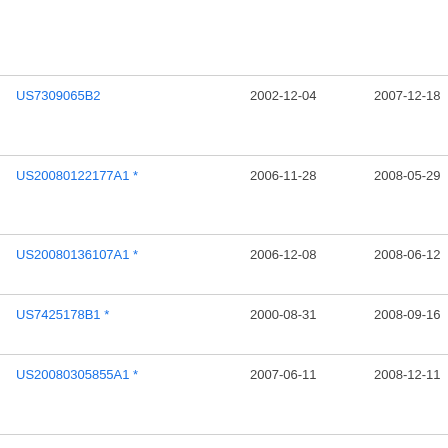| Patent Number | Filing Date | Publication Date | Assignee |
| --- | --- | --- | --- |
| US7309065B2 | 2002-12-04 | 2007-12-18 | Shu Ma Inc |
| US20080122177A1 * | 2006-11-28 | 2008-05-29 | We Ale Klin |
| US20080136107A1 * | 2006-12-08 | 2008-06-12 | Jec Can |
| US7425178B1 * | 2000-08-31 | 2008-09-16 | Wa Odi |
| US20080305855A1 * | 2007-06-11 | 2008-12-11 | Shu Ma Inc |